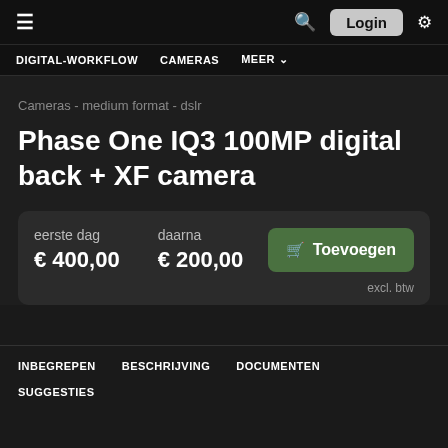≡  [search] Login [settings]
DIGITAL-WORKFLOW  CAMERAS  MEER ˅
Cameras - medium format - dslr
Phase One IQ3 100MP digital back + XF camera
| eerste dag | daarna |  |
| --- | --- | --- |
| € 400,00 | € 200,00 | 🛒 Toevoegen |
|  |  | excl. btw |
INBEGREPEN  BESCHRIJVING  DOCUMENTEN  SUGGESTIES